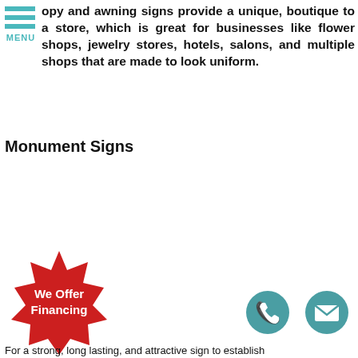opy and awning signs provide a unique, boutique to a store, which is great for businesses like flower shops, jewelry stores, hotels, salons, and multiple shops that are made to look uniform.
Monument Signs
[Figure (illustration): Red starburst badge with white bold text reading 'We Offer Financing']
[Figure (illustration): Teal circular phone icon]
[Figure (illustration): Teal circular email/envelope icon]
For a strong, long lasting, and attractive sign to establish